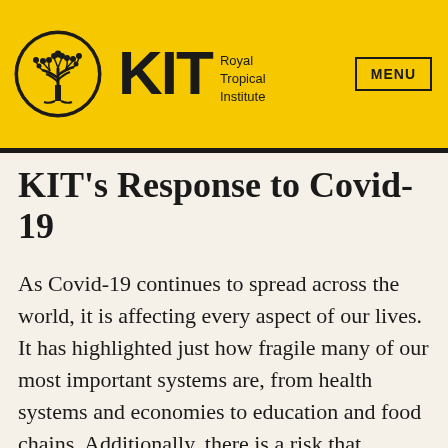[Figure (logo): KIT Royal Tropical Institute logo with tree emblem in circle and KIT text]
KIT's Response to Covid-19
As Covid-19 continues to spread across the world, it is affecting every aspect of our lives. It has highlighted just how fragile many of our most important systems are, from health systems and economies to education and food chains. Additionally, there is a risk that existing inequalities are further deepened, with